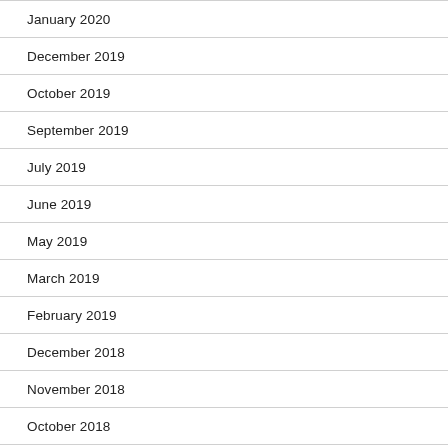January 2020
December 2019
October 2019
September 2019
July 2019
June 2019
May 2019
March 2019
February 2019
December 2018
November 2018
October 2018
August 2018